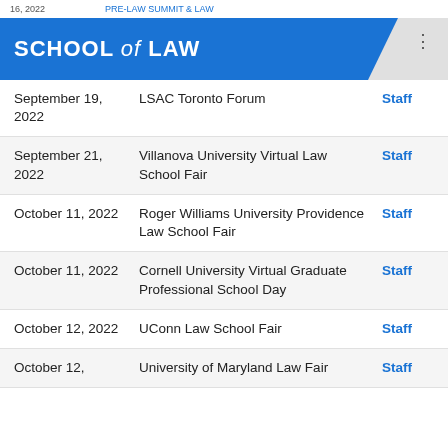16, 2022   PRE-LAW SUMMIT & LAW
SCHOOL of LAW
| Date | Event |  |
| --- | --- | --- |
| September 19, 2022 | LSAC Toronto Forum | Staff |
| September 21, 2022 | Villanova University Virtual Law School Fair | Staff |
| October 11, 2022 | Roger Williams University Providence Law School Fair | Staff |
| October 11, 2022 | Cornell University Virtual Graduate Professional School Day | Staff |
| October 12, 2022 | UConn Law School Fair | Staff |
| October 12, | University of Maryland Law Fair | Staff |